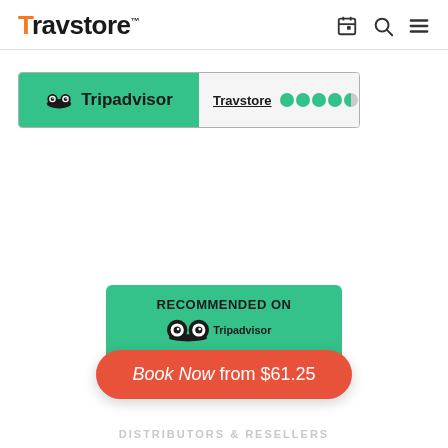Travstore™
[Figure (logo): Tripadvisor widget showing Travstore with 4.5 green dots and 425 reviews]
[Figure (infographic): Recommended on Tripadvisor green badge with Book Now from $61.25 red button]
DISTRIBUTORS & RESELLERS